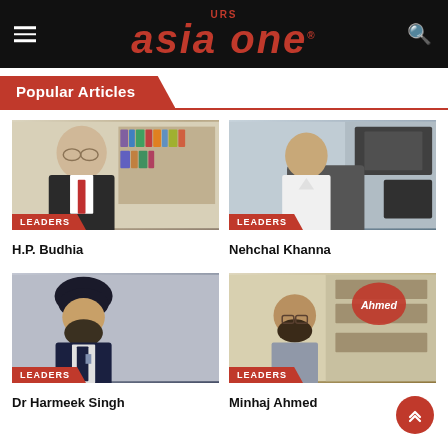URS Asia One
Popular Articles
[Figure (photo): Portrait photo of H.P. Budhia, elderly man in suit with red tie, standing in front of bookshelves, with LEADERS banner]
H.P. Budhia
[Figure (photo): Portrait photo of Nehchal Khanna, man in white shirt seated at office desk, with LEADERS banner]
Nehchal Khanna
[Figure (photo): Portrait photo of Dr Harmeek Singh, man wearing dark turban and suit, with LEADERS banner]
Dr Harmeek Singh
[Figure (photo): Portrait photo of Minhaj Ahmed, man with beard seated in office with Ahmed logo/sign in background, with LEADERS banner]
Minhaj Ahmed